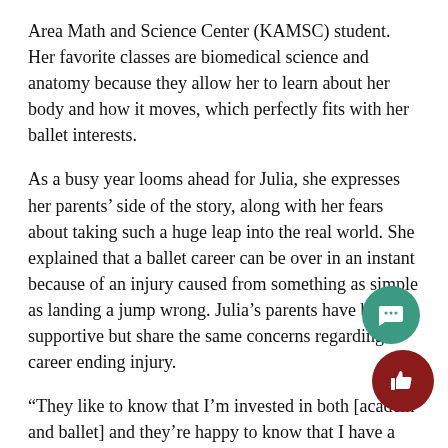Area Math and Science Center (KAMSC) student. Her favorite classes are biomedical science and anatomy because they allow her to learn about her body and how it moves, which perfectly fits with her ballet interests.
As a busy year looms ahead for Julia, she expresses her parents' side of the story, along with her fears about taking such a huge leap into the real world. She explained that a ballet career can be over in an instant because of an injury caused from something as simple as landing a jump wrong. Julia's parents have been supportive but share the same concerns regarding a career ending injury.
“They like to know that I’m invested in both [academ and ballet] and they’re happy to know that I have a backup plan, so if something were to happen, I still ha a strong academics background that I could use,” sa Julia.